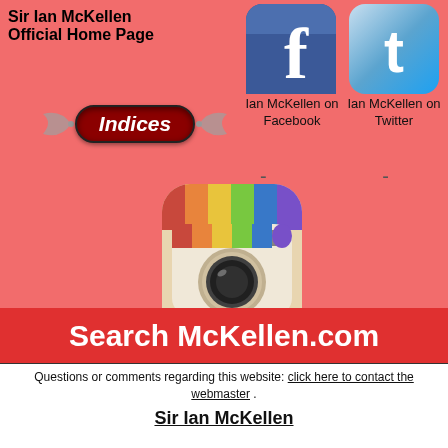Sir Ian McKellen Official Home Page
[Figure (illustration): Indices navigation button with decorative wings, dark red oval pill shape with white italic bold text 'Indices']
[Figure (logo): Facebook logo icon - blue rounded square with white 'f' letter]
Ian McKellen on Facebook
[Figure (logo): Twitter logo icon - light blue rounded square with white bird/t letter]
Ian McKellen on Twitter
[Figure (logo): Instagram app icon - rounded square camera icon with colorful stripe at top]
Ian McKelllen on Instagram
Search McKellen.com
Questions or comments regarding this website: click here to contact the webmaster .
Sir Ian McKellen